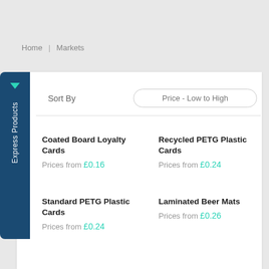Home | Markets
Sort By    Price - Low to High
Coated Board Loyalty Cards
Prices from £0.16
Recycled PETG Plastic Cards
Prices from £0.24
Standard PETG Plastic Cards
Prices from £0.24
Laminated Beer Mats
Prices from £0.26